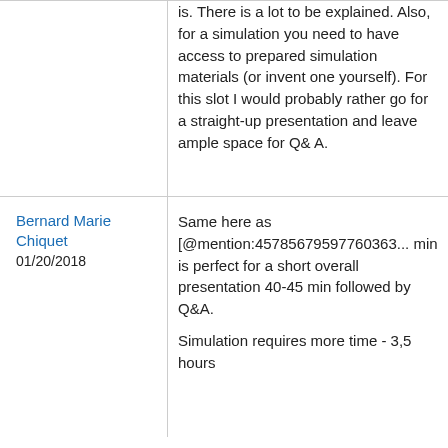is. There is a lot to be explained. Also, for a simulation you need to have access to prepared simulation materials (or invent one yourself). For this slot I would probably rather go for a straight-up presentation and leave ample space for Q& A.
Bernard Marie Chiquet
01/20/2018
Same here as [@mention:45785679597760363... min is perfect for a short overall presentation 40-45 min followed by Q&A.

Simulation requires more time - 3,5 hours